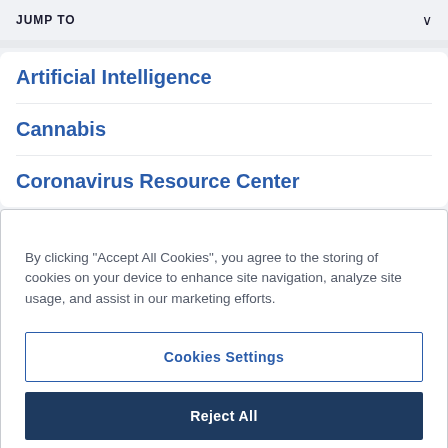JUMP TO
Artificial Intelligence
Cannabis
Coronavirus Resource Center
By clicking "Accept All Cookies", you agree to the storing of cookies on your device to enhance site navigation, analyze site usage, and assist in our marketing efforts.
Cookies Settings
Reject All
Accept All Cookies